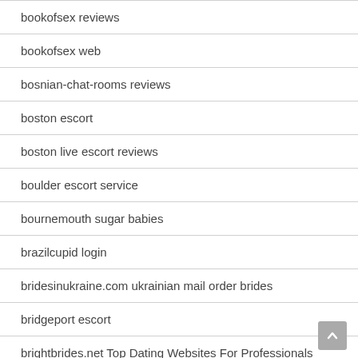bookofsex reviews
bookofsex web
bosnian-chat-rooms reviews
boston escort
boston live escort reviews
boulder escort service
bournemouth sugar babies
brazilcupid login
bridesinukraine.com ukrainian mail order brides
bridgeport escort
brightbrides.net Top Dating Websites For Professionals
bristlr Accedere